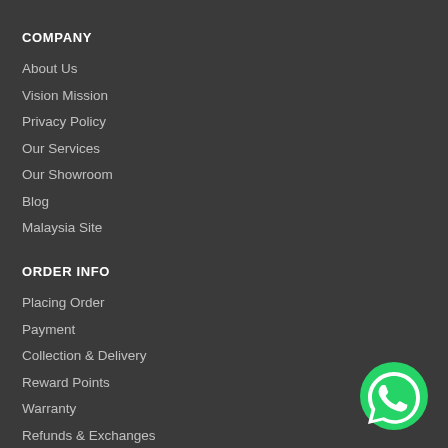COMPANY
About Us
Vision Mission
Privacy Policy
Our Services
Our Showroom
Blog
Malaysia Site
ORDER INFO
Placing Order
Payment
Collection & Delivery
Reward Points
Warranty
Refunds & Exchanges
[Figure (logo): WhatsApp icon — green circle with white phone handset]